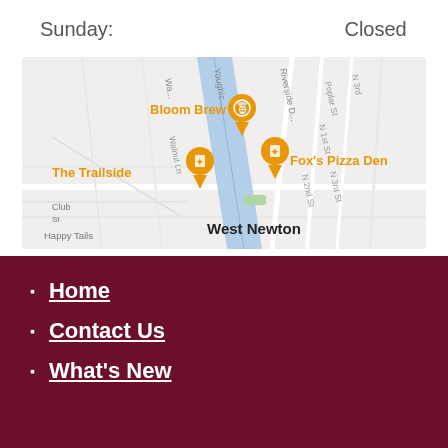Sunday: Closed
[Figure (map): Google Maps view of West Newton area showing Bloom Brew, Fox's Pizza Den, and The Trailside restaurant pins near Youghiogheny river, with street labels including Walnut Ln, Riverside Dr, N 1st St, N 2nd St, N 3rd St, Poplar St, and West Newton label.]
Home
Contact Us
What's New